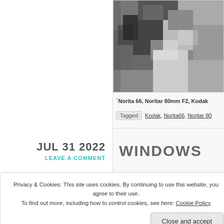[Figure (photo): Black and white photo of foliage/trees, partially cropped at top right of page]
↑ Norita 66, Noritar 80mm F2, Kodak...
Tagged   Kodak, Norita66, Noritar 80...
JUL 31 2022
LEAVE A COMMENT
WINDOWS
Privacy & Cookies: This site uses cookies. By continuing to use this website, you agree to their use.
To find out more, including how to control cookies, see here: Cookie Policy
Close and accept